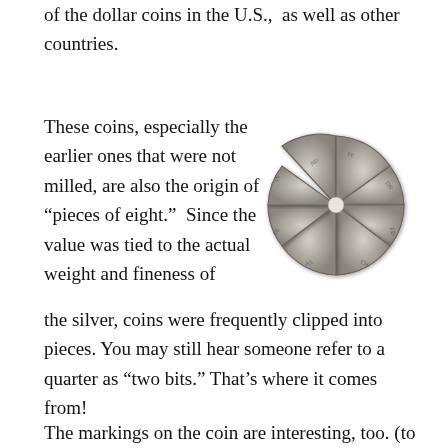of the dollar coins in the U.S., as well as other countries.
These coins, especially the earlier ones that were not milled, are also the origin of “pieces of eight.” Since the value was tied to the actual weight and fineness of the silver, coins were frequently clipped into pieces. You may still hear someone refer to a quarter as “two bits.” That’s where it comes from!
[Figure (photo): A silver coin that has been cut into 8 pie-shaped pieces, arranged in a circular pattern, showing engraved markings on each piece.]
The markings on the coin are interesting, too. (to me